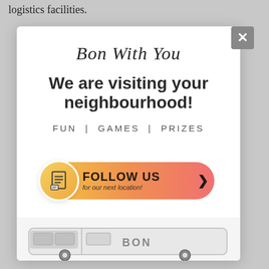logistics facilities.
[Figure (other): Modal popup card with 'Bon With You' script title, 'We are visiting your neighbourhood!' bold headline, 'FUN | GAMES | PRIZES' subtext, a gradient 'FOLLOW US for our next location!' button with document icon, and a partial van image at the bottom. A grey X close button appears in the top right corner of the modal.]